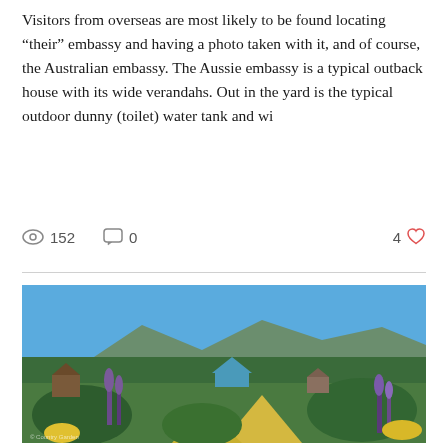Visitors from overseas are most likely to be found locating “their” embassy and having a photo taken with it, and of course, the Australian embassy. The Aussie embassy is a typical outback house with its wide verandahs. Out in the yard is the typical outdoor dunny (toilet) water tank and wi
152   0   4
[Figure (photo): Outdoor garden scene with colourful flowers including lupins in foreground, miniature model buildings or structures visible among dense green hedges, with a mountain range and blue sky in the background.]